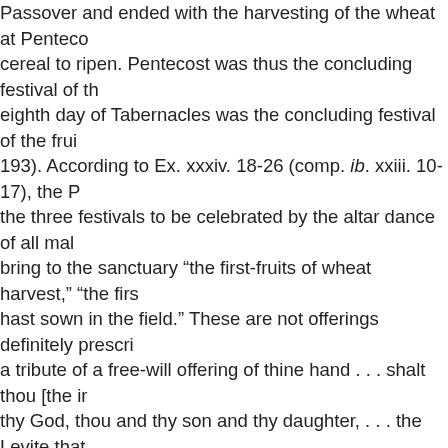Passover and ended with the harvesting of the wheat at Pentecost cereal to ripen. Pentecost was thus the concluding festival of the eighth day of Tabernacles was the concluding festival of the fru 193). According to Ex. xxxiv. 18-26 (comp. ib. xxiii. 10-17), the R the three festivals to be celebrated by the altar dance of all male bring to the sanctuary "the first-fruits of wheat harvest," "the firs hast sown in the field." These are not offerings definitely prescri a tribute of a free-will offering of thine hand . . . shalt thou [the i thy God, thou and thy son and thy daughter, . . . the Levite that stranger, and the fatherless, and the widow" (Deut. xvi. 9-12). In is a regularly appointed first-fruit offering which the whole comm two first-fruit loaves ("lehem ha-bikkurim") of new meal, of two-t leaven. The loaves were to be waved; hence the name "wave-lo Furthermore, various animal sacrifices were enjoined, and no w xxviii. 26-31 the main pentecostal offering is one of new meal (" also a list of grain and animal offerings differing somewhat from offerings are to be made in addition to the fixed daily offering.